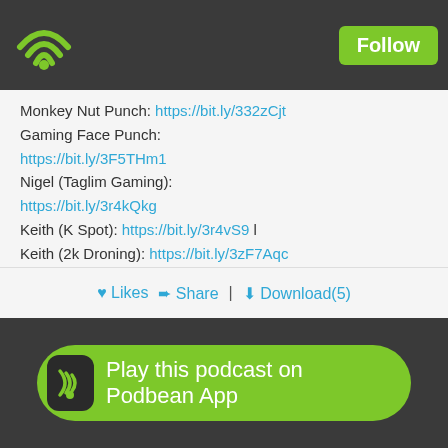[Figure (logo): Podbean wifi/podcast logo icon in green on dark bar, top left]
Follow
Monkey Nut Punch: https://bit.ly/332zCjt
Gaming Face Punch: https://bit.ly/3F5THm1
Nigel (Taglim Gaming): https://bit.ly/3r4kQkg
Keith (K Spot): https://bit.ly/3r4vS9 l
Keith (2k Droning): https://bit.ly/3zF7Aqc
Other Links
Website: www.mnp.ninja
Twitch: https://bit.ly/3FaUOB5
Bapstarcade: https://bit.ly/34zsawR
Podcast Hosting: www.podbean.com
Likes  Share  |  Download(5)
Play this podcast on Podbean App